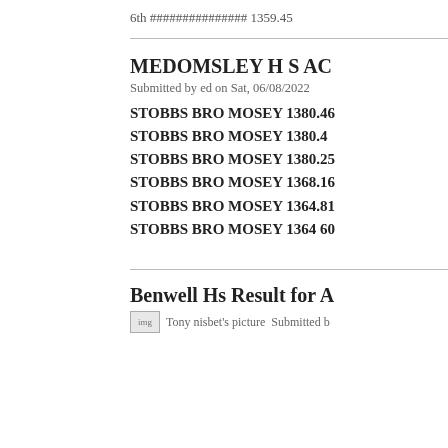6th ############### 1359.45
MEDOMSLEY H S AC
Submitted by ed on Sat, 06/08/2022
STOBBS BRO MOSEY 1380.46
STOBBS BRO MOSEY 1380.4
STOBBS BRO MOSEY 1380.25
STOBBS BRO MOSEY 1368.16
STOBBS BRO MOSEY 1364.81
STOBBS BRO MOSEY 1364 60
Benwell Hs Result for A
[Figure (photo): Tony nisbet's picture thumbnail]